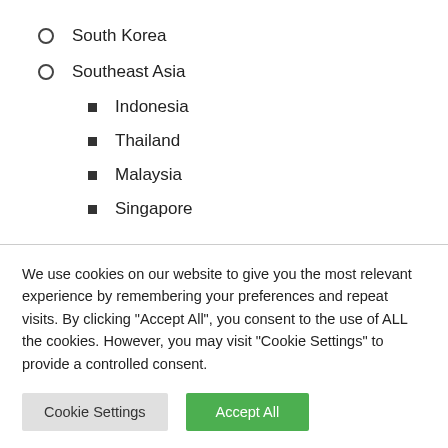South Korea
Southeast Asia
Indonesia
Thailand
Malaysia
Singapore
We use cookies on our website to give you the most relevant experience by remembering your preferences and repeat visits. By clicking "Accept All", you consent to the use of ALL the cookies. However, you may visit "Cookie Settings" to provide a controlled consent.
Cookie Settings | Accept All